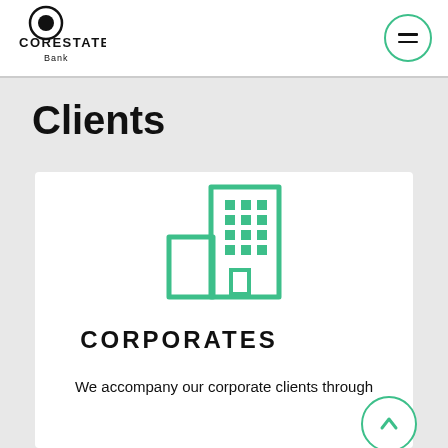[Figure (logo): Corestate Bank logo with circular icon and text CORESTATE Bank]
[Figure (illustration): Menu hamburger icon in a circular green-bordered button]
Clients
[Figure (illustration): Green outline icon of a corporate building/skyscraper]
CORPORATES
We accompany our corporate clients through